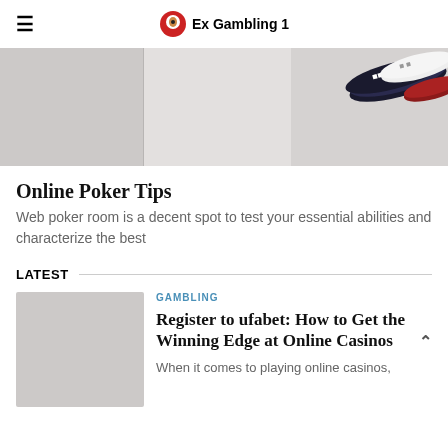Ex Gambling 1
[Figure (photo): Poker table with casino chips visible in the upper right corner]
Online Poker Tips
Web poker room is a decent spot to test your essential abilities and characterize the best
LATEST
GAMBLING
Register to ufabet: How to Get the Winning Edge at Online Casinos
When it comes to playing online casinos,